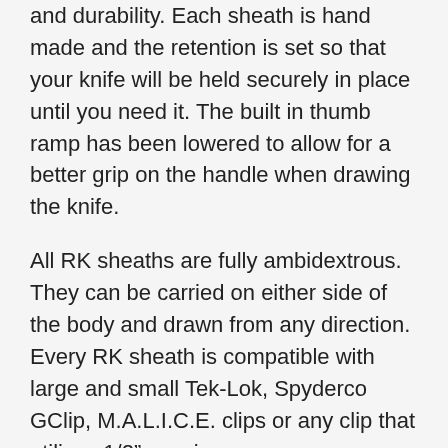and durability. Each sheath is hand made and the retention is set so that your knife will be held securely in place until you need it. The built in thumb ramp has been lowered to allow for a better grip on the handle when drawing the knife.
All RK sheaths are fully ambidextrous. They can be carried on either side of the body and drawn from any direction. Every RK sheath is compatible with large and small Tek-Lok, Spyderco GClip, M.A.L.I.C.E. clips or any clip that utilizes 1/2" spacing.
Please choose the color you want from drop down menu. Custom patterns are sometimes available. Message me if there is a specific pattern you are looking for.
This sheath comes without a clip or accessories. This allows you to use a clip you already have or use the sheath